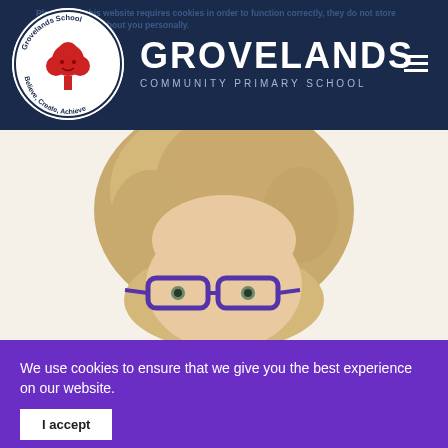Please note this website requires cookies in order to function correctly, they do not store any information about you personally.
[Figure (logo): Grovelands School circular logo with red tree and text 'Believe, Create, Achieve']
GROVELANDS COMMUNITY PRIMARY SCHOOL
[Figure (photo): Close-up photo of a person with curly blonde hair and purple glasses, face partially visible from forehead to chin]
We use cookies to ensure that we give you the best experience on our website.
I accept